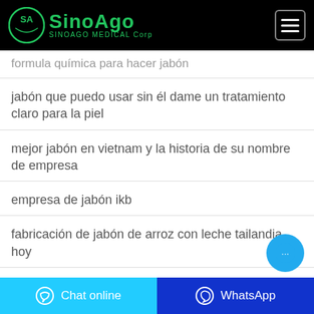SINOAGO MEDICAL Corp
formula química para hacer jabón
jabón que puedo usar sin él dame un tratamiento claro para la piel
mejor jabón en vietnam y la historia de su nombre de empresa
empresa de jabón ikb
fabricación de jabón de arroz con leche tailandia hoy
Chat online | WhatsApp